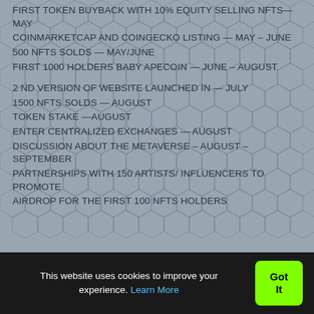FIRST TOKEN BUYBACK WITH 10% EQUITY SELLING NFTS— MAY
COINMARKETCAP AND COINGECKO LISTING — MAY – JUNE
500 NFTS SOLDS — MAY/JUNE
FIRST 1000 HOLDERS BABY APECOIN — JUNE – AUGUST
2 ND VERSION OF WEBSITE LAUNCHED IN — JULY
1500 NFTS SOLDS — AUGUST
TOKEN STAKE —AUGUST
ENTER CENTRALIZED EXCHANGES — AUGUST
DISCUSSION ABOUT THE METAVERSE – AUGUST – SEPTEMBER
PARTNERSHIPS WITH 150 ARTISTS/ INFLUENCERS TO PROMOTE
AIRDROP FOR THE FIRST 100 NFTS HOLDERS
This website uses cookies to improve your experience. Learn More